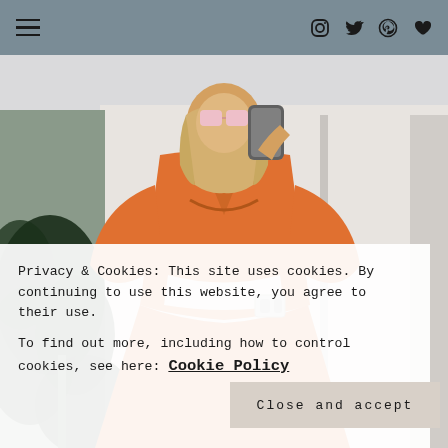Navigation bar with hamburger menu and social icons (Instagram, Twitter, Pinterest, heart/wishlist)
[Figure (photo): A woman wearing an orange cutout dress taking a mirror selfie with a smartphone. She has blonde hair and oversized pink sunglasses. There is a large green plant visible in the mirror. White walls and doors in background.]
Privacy & Cookies: This site uses cookies. By continuing to use this website, you agree to their use.
To find out more, including how to control cookies, see here: Cookie Policy
Close and accept